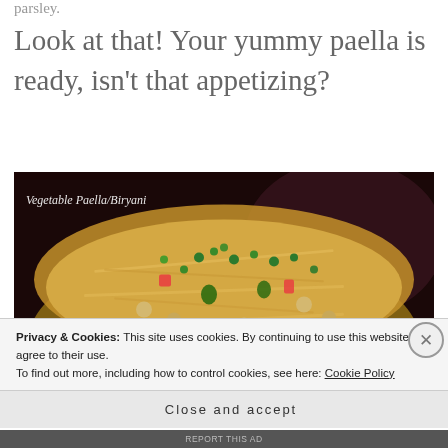parsley.
Look at that!  Your yummy paella is ready, isn't that appetizing?
[Figure (photo): A bowl of Vegetable Paella/Biryani with green herbs, chickpeas, and colorful vegetables on a dark background]
Privacy & Cookies: This site uses cookies. By continuing to use this website, you agree to their use.
To find out more, including how to control cookies, see here: Cookie Policy
Close and accept